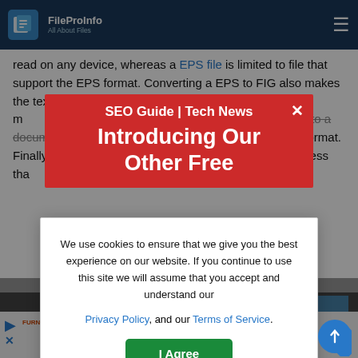FileProInfo — All About Files (nav bar)
read on any device, whereas a EPS file is limited to file that support the EPS format. Converting a EPS to FIG also makes the text easier to read, as FIG files tend to be m... tionally, if you want to make changes to a docum... it can be much easier... EPS format. Finally, conv...ing a... file... a qui... and easy process tha... this free online EPS...
[Figure (screenshot): Red popup banner with text: SEO Guide | Tech News — Introducing Our Other Free]
We use cookies to ensure that we give you the best experience on our website. If you continue to use this site we will assume that you accept and understand our Privacy Policy, and our Terms of Service.
I Agree